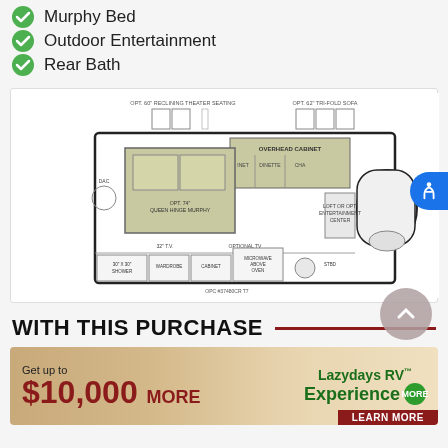Murphy Bed
Outdoor Entertainment
Rear Bath
[Figure (engineering-diagram): RV floorplan diagram showing layout including murphy bed, overhead cabinet, dinette, wardrobe, cabinet, microwave above oven, shower, and optional items. Bird's eye view schematic with labeled furniture and features.]
WITH THIS PURCHASE
[Figure (infographic): Lazydays RV advertisement banner. Text: Get up to $10,000 MORE on the left in dark red, Lazydays RV Experience MORE logo on the right in green, with LEARN MORE button at bottom right.]